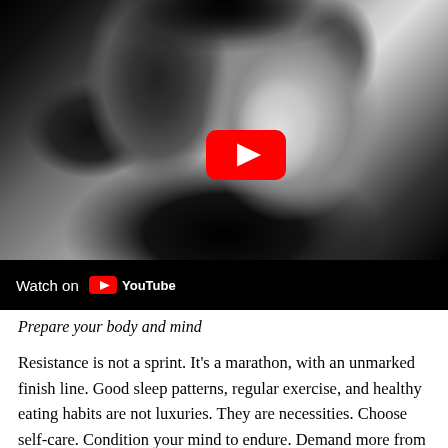[Figure (screenshot): A YouTube video thumbnail showing a black and white photo of a young woman with curly hair, with a red YouTube play button overlaid in the center-right area. The bottom bar shows 'Watch on YouTube' with the YouTube logo.]
Prepare your body and mind
Resistance is not a sprint. It’s a marathon, with an unmarked finish line. Good sleep patterns, regular exercise, and healthy eating habits are not luxuries. They are necessities. Choose self-care. Condition your mind to endure. Demand more from